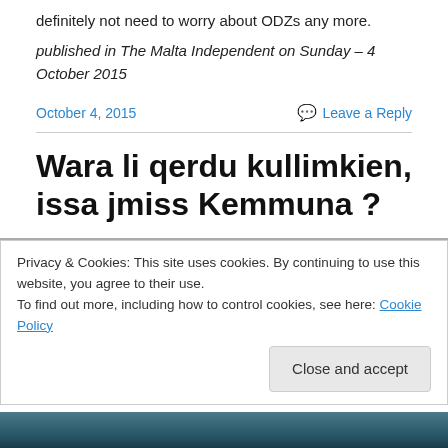definitely not need to worry about ODZs any more.
published in The Malta Independent on Sunday – 4 October 2015
October 4, 2015
Leave a Reply
Wara li qerdu kullimkien, issa jmiss Kemmuna ?
Privacy & Cookies: This site uses cookies. By continuing to use this website, you agree to their use.
To find out more, including how to control cookies, see here: Cookie Policy
Close and accept
[Figure (photo): Bottom strip of a photo, appearing to show a coastal or rocky scene with blue-teal tones.]